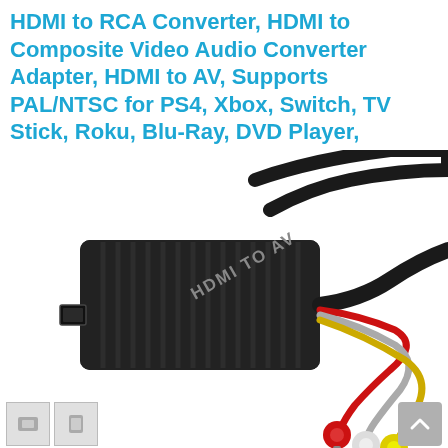HDMI to RCA Converter, HDMI to Composite Video Audio Converter Adapter, HDMI to AV, Supports PAL/NTSC for PS4, Xbox, Switch, TV Stick, Roku, Blu-Ray, DVD Player,
[Figure (photo): Black HDMI to AV converter box with 'HDMI TO AV' label, HDMI input port on the left side, connected via cable to three RCA output connectors (red, white, yellow) on the right, shown on white background. A small scroll-to-top button appears in the lower right corner, and two small product thumbnail images appear at the bottom left.]